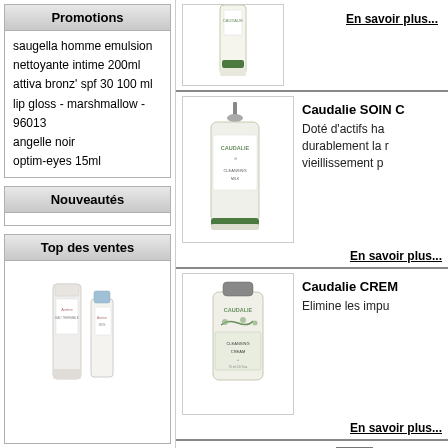Promotions
saugella homme emulsion nettoyante intime 200ml
attiva bronz' spf 30 100 ml
lip gloss - marshmallow - 96013
angelle noir
optim-eyes 15ml
Nouveautés
Top des ventes
[Figure (photo): Avene product bottles]
En savoir plus...
[Figure (photo): Caudalie SOIN bottle with pump]
Caudalie SOIN C
Doté d'actifs ha durablement la r vieillissement p
En savoir plus...
[Figure (photo): Caudalie CREME tube]
Caudalie CREME
Elimine les impu
En savoir plus...
Articles 1 à 15 Affichage par 15 P